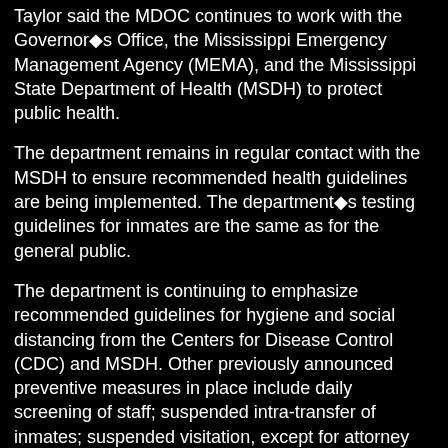Taylor said the MDOC continues to work with the Governor◆s Office, the Mississippi Emergency Management Agency (MEMA), and the Mississippi State Department of Health (MSDH) to protect public health.
The department remains in regular contact with the MSDH to ensure recommended health guidelines are being implemented. The department◆s testing guidelines for inmates are the same as for the general public.
The department is continuing to emphasize recommended guidelines for hygiene and social distancing from the Centers for Disease Control (CDC) and MSDH. Other previously announced preventive measures in place include daily screening of staff; suspended intra-transfer of inmates; suspended visitation, except for attorney visits; and increased sanitization following those visits.
◆The inmates under quarantine are not on lockdown, but they are not going to work or school,◆ Taylor said. ◆We are letting inmates know we are concerned about their health and will continue to make adjustments in our protocols as needed to ensure their safety.◆